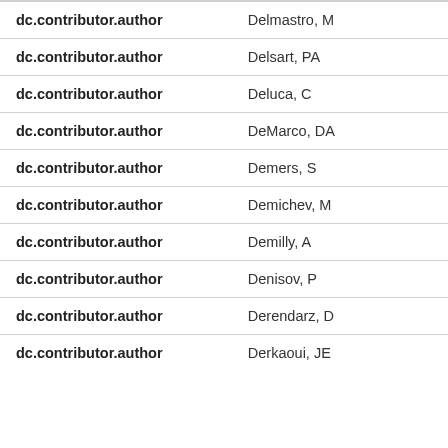| Field | Value |
| --- | --- |
| dc.contributor.author | Delmastro, M |
| dc.contributor.author | Delsart, PA |
| dc.contributor.author | Deluca, C |
| dc.contributor.author | DeMarco, DA |
| dc.contributor.author | Demers, S |
| dc.contributor.author | Demichev, M |
| dc.contributor.author | Demilly, A |
| dc.contributor.author | Denisov, P |
| dc.contributor.author | Derendarz, D |
| dc.contributor.author | Derkaoui, JE |